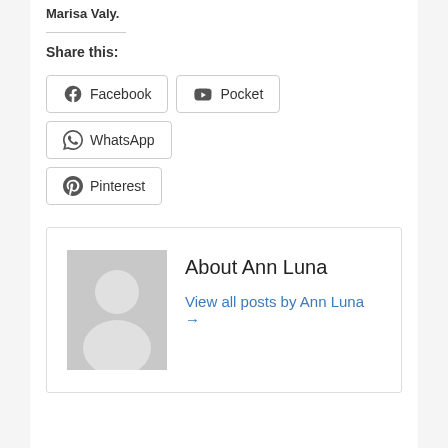Marisa Valy.
Share this:
Facebook  Pocket  WhatsApp  Pinterest
About Ann Luna
View all posts by Ann Luna →